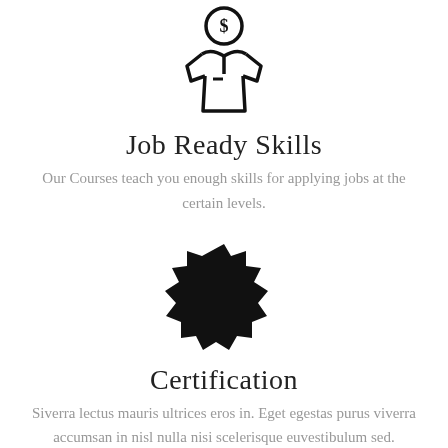[Figure (illustration): Line-art icon of a person/worker figure with a dollar sign in a circle above their head and a shirt/uniform shape below]
Job Ready Skills
Our Courses teach you enough skills for applying jobs at the certain levels.
[Figure (illustration): Solid black starburst / badge seal shape icon]
Certification
Siverra lectus mauris ultrices eros in. Eget egestas purus viverra accumsan in nisl nulla nisi scelerisque euvestibulum sed.